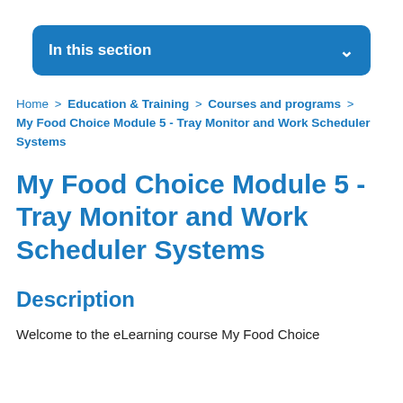In this section
Home > Education & Training > Courses and programs > My Food Choice Module 5 - Tray Monitor and Work Scheduler Systems
My Food Choice Module 5 - Tray Monitor and Work Scheduler Systems
Description
Welcome to the eLearning course My Food Choice